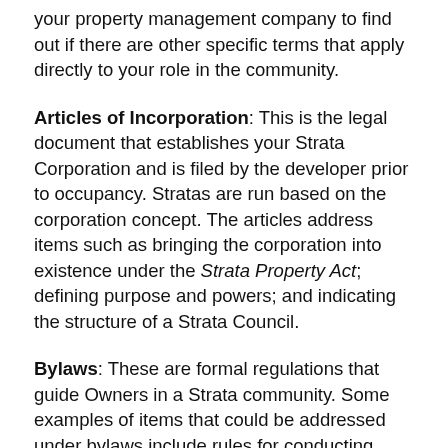your property management company to find out if there are other specific terms that apply directly to your role in the community.
Articles of Incorporation: This is the legal document that establishes your Strata Corporation and is filed by the developer prior to occupancy. Stratas are run based on the corporation concept. The articles address items such as bringing the corporation into existence under the Strata Property Act; defining purpose and powers; and indicating the structure of a Strata Council.
Bylaws: These are formal regulations that guide Owners in a Strata community. Some examples of items that could be addressed under bylaws include rules for conducting meetings, voting rights, quorum requirements, Strata Council responsibilities, and general powers of the Council.
Strata Fees: These are paid by Owners on a monthly basis to cover services such as landscape maintenance